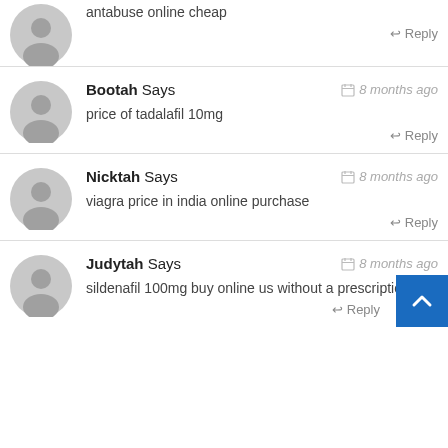antabuse online cheap
↩ Reply
Bootah Says  📅 8 months ago
price of tadalafil 10mg
↩ Reply
Nicktah Says  📅 8 months ago
viagra price in india online purchase
↩ Reply
Judytah Says  📅 8 months ago
sildenafil 100mg buy online us without a prescription
↩ Reply